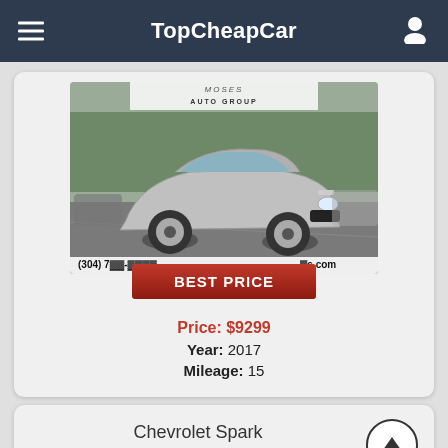TopCheapCar
[Figure (photo): Silver Chevrolet Spark hatchback on a dealer lot, Moses Auto Group banner, BEST PRICE button overlay]
Price: $9299
Year: 2017
Mileage: 15
Chevrolet Spark LS 2017